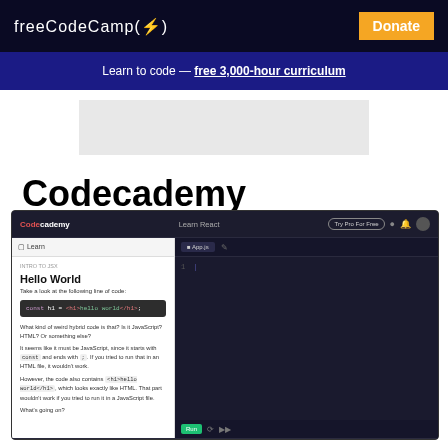freeCodeCamp(🔥) | Donate
Learn to code — free 3,000-hour curriculum
[Figure (screenshot): Advertisement placeholder area (gray box)]
Codecademy
[Figure (screenshot): Screenshot of Codecademy's Learn React interface showing the Hello World lesson with JSX code example: const h1 = <h1>hello world</h1>; with lesson text explaining JSX as a hybrid of JavaScript and HTML. The interface shows a split-pane code editor with dark theme on the right side. Navigation shows 2/15 progress.]